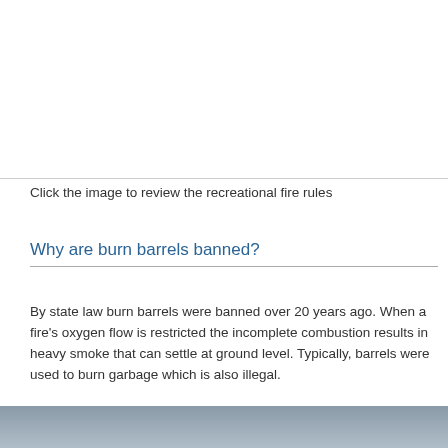[Figure (photo): White/blank image area at top of page representing a clickable image about recreational fire rules]
Click the image to review the recreational fire rules
Why are burn barrels banned?
By state law burn barrels were banned over 20 years ago. When a fire's oxygen flow is restricted the incomplete combustion results in heavy smoke that can settle at ground level. Typically, barrels were used to burn garbage which is also illegal.
[Figure (photo): Partial image visible at bottom of page, appears to show a smoky or outdoor scene]